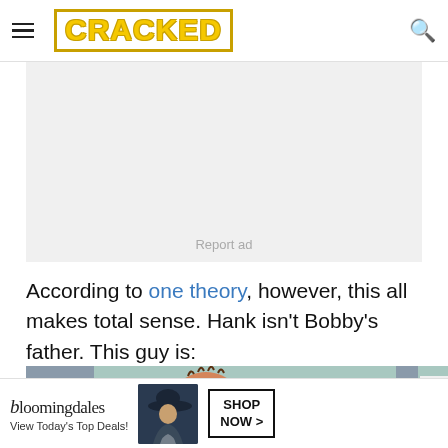CRACKED
[Figure (other): Advertisement placeholder box with 'Report ad' text in light gray]
According to one theory, however, this all makes total sense. Hank isn't Bobby's father. This guy is:
[Figure (illustration): Cartoon illustration showing a bald animated character viewed from behind, standing in front of a filing cabinet against a teal background]
[Figure (other): Bloomingdale's advertisement banner: 'View Today's Top Deals!' with SHOP NOW > button]